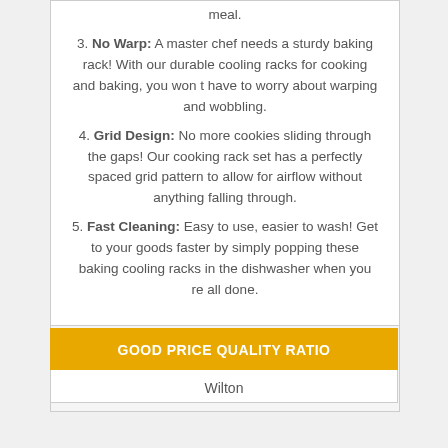3. No Warp: A master chef needs a sturdy baking rack! With our durable cooling racks for cooking and baking, you won t have to worry about warping and wobbling.
4. Grid Design: No more cookies sliding through the gaps! Our cooking rack set has a perfectly spaced grid pattern to allow for airflow without anything falling through.
5. Fast Cleaning: Easy to use, easier to wash! Get to your goods faster by simply popping these baking cooling racks in the dishwasher when you re all done.
Ver Precio
GOOD PRICE QUALITY RATIO
Wilton